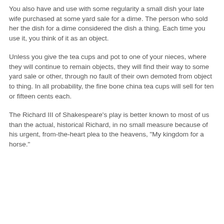You also have and use with some regularity a small dish your late wife purchased at some yard sale for a dime. The person who sold her the dish for a dime considered the dish a thing. Each time you use it, you think of it as an object.
Unless you give the tea cups and pot to one of your nieces, where they will continue to remain objects, they will find their way to some yard sale or other, through no fault of their own demoted from object to thing. In all probability, the fine bone china tea cups will sell for ten or fifteen cents each.
The Richard III of Shakespeare's play is better known to most of us than the actual, historical Richard, in no small measure because of his urgent, from-the-heart plea to the heavens, "My kingdom for a horse."